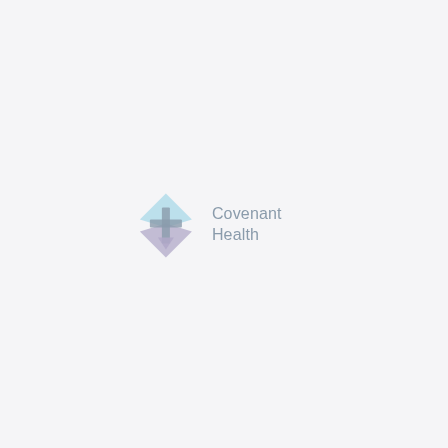[Figure (logo): Covenant Health logo: a light blue and lavender diamond/anchor shape with a cross symbol, followed by the text 'Covenant Health' in grey]